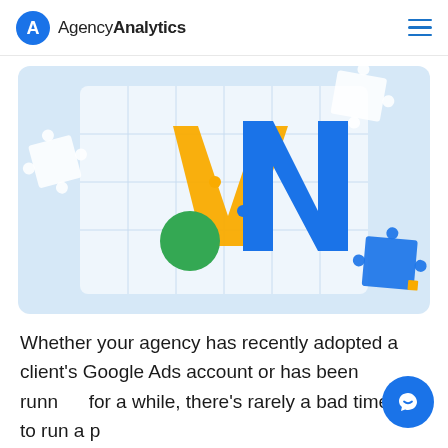AgencyAnalytics
[Figure (illustration): Google Ads logo rendered as jigsaw puzzle pieces on a light blue background. The Google Ads 'A' logo is shown assembled from puzzle pieces in yellow, green, and blue, with some puzzle pieces scattered outside the main puzzle area.]
Whether your agency has recently adopted a client's Google Ads account or has been running for a while, there's rarely a bad time to run a proper